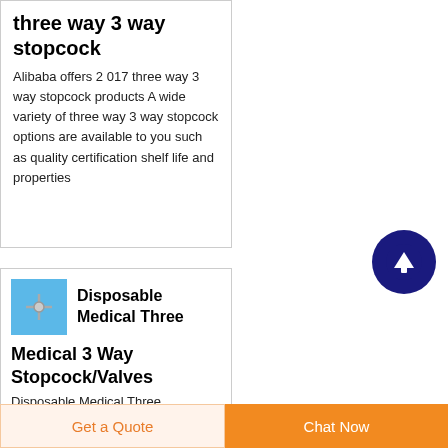three way 3 way stopcock
Alibaba offers 2 017 three way 3 way stopcock products A wide variety of three way 3 way stopcock options are available to you such as quality certification shelf life and properties
[Figure (other): Scroll-to-top circular button with upward arrow, dark navy blue background]
[Figure (photo): Small thumbnail image of a medical stopcock/valve product on light blue background]
Disposable Medical Three
Medical 3 Way Stopcock/Valves
Disposable Medical Three
Get a Quote
Chat Now